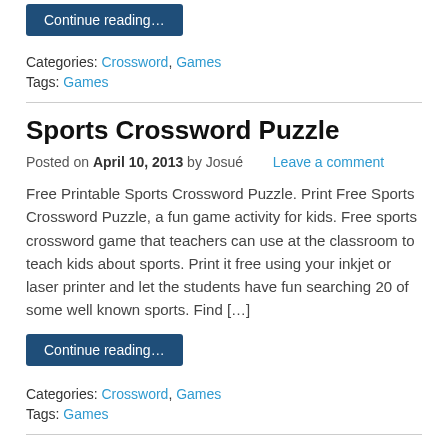Continue reading…
Categories: Crossword, Games
Tags: Games
Sports Crossword Puzzle
Posted on April 10, 2013 by Josué   Leave a comment
Free Printable Sports Crossword Puzzle. Print Free Sports Crossword Puzzle, a fun game activity for kids. Free sports crossword game that teachers can use at the classroom to teach kids about sports. Print it free using your inkjet or laser printer and let the students have fun searching 20 of some well known sports. Find […]
Continue reading…
Categories: Crossword, Games
Tags: Games
Disney Crossword Puzzle